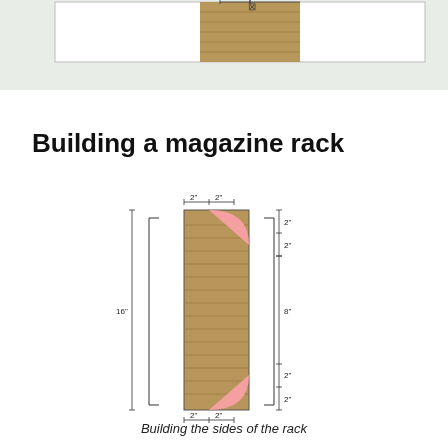[Figure (engineering-diagram): Top portion of previous page diagram showing a wooden board with construction details]
Building a magazine rack
[Figure (engineering-diagram): Technical diagram showing the side panel of a magazine rack. A vertical wooden board (16 inches tall) with pink quarter-circle cutouts at corners. Dimensions labeled: 2 inch widths at top and bottom corners, 2 inch heights at top corners, 8 inch middle height on right, 2 inch heights at bottom corners. Top and bottom show 2 inch + 2 inch horizontal measurements.]
Building the sides of the rack